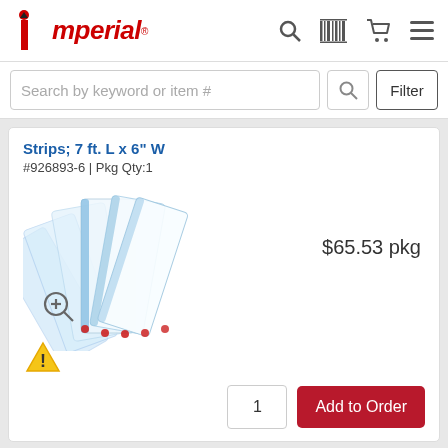Imperial
Search by keyword or item #
Filter
Strips; 7 ft. L x 6" W
#926893-6 | Pkg Qty:1
[Figure (photo): Photo of clear plastic strips fanned out, with blue tint and red fastener dots at bottom]
$65.53 pkg
Add to Order, quantity: 1